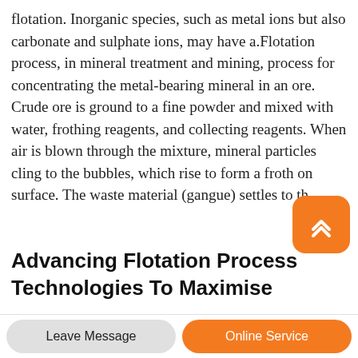flotation. Inorganic species, such as metal ions but also carbonate and sulphate ions, may have a.Flotation process, in mineral treatment and mining, process for concentrating the metal-bearing mineral in an ore. Crude ore is ground to a fine powder and mixed with water, frothing reagents, and collecting reagents. When air is blown through the mixture, mineral particles cling to the bubbles, which rise to form a froth on surface. The waste material (gangue) settles to th
Advancing Flotation Process Technologies To Maximise
Flotation process, in mineral treatment and mining, process for concentrating the metal-bearing mineral in